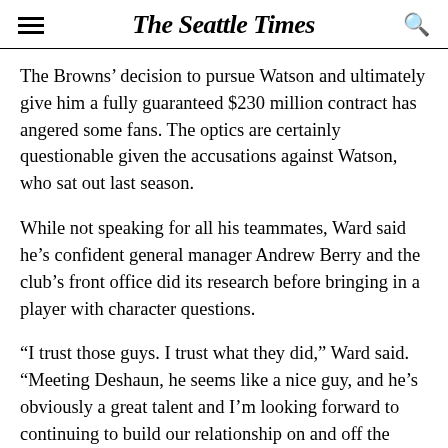The Seattle Times
The Browns’ decision to pursue Watson and ultimately give him a fully guaranteed $230 million contract has angered some fans. The optics are certainly questionable given the accusations against Watson, who sat out last season.
While not speaking for all his teammates, Ward said he’s confident general manager Andrew Berry and the club’s front office did its research before bringing in a player with character questions.
“I trust those guys. I trust what they did,” Ward said. “Meeting Deshaun, he seems like a nice guy, and he’s obviously a great talent and I’m looking forward to continuing to build our relationship on and off the field.”